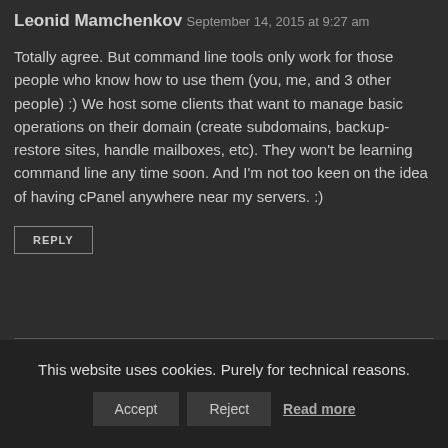Leonid Mamchenkov
September 14, 2015 at 9:27 am
Totally agree. But command line tools only work for those people who know how to use them (you, me, and 3 other people) :) We host some clients that want to manage basic operations on their domain (create subdomains, backup-restore sites, handle mailboxes, etc). They won’t be learning command line any time soon. And I’m not too keen on the idea of having cPanel anywhere near my servers. :)
REPLY
This website uses cookies. Purely for technical reasons.
Accept
Reject
Read more